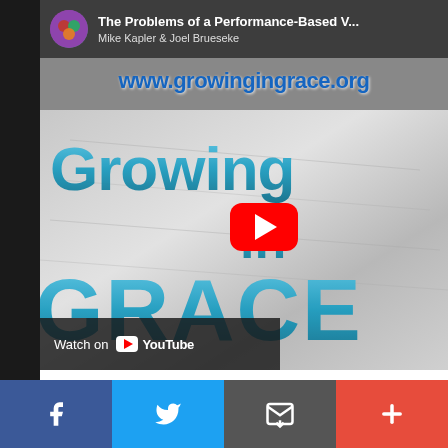[Figure (screenshot): YouTube video thumbnail for 'The Problems of a Performance-Based V...' by Mike Kapler & Joel Brueseke on Growing in Grace channel. Shows www.growingingrace.org text, 'Growing in Grace' 3D blue letters, YouTube play button overlay, and 'Watch on YouTube' bar at bottom.]
[Figure (infographic): Row of 5 social share buttons: Facebook (blue), Twitter (blue), Email (grey), Print (dark grey), Plus/More (red-orange)]
[Figure (infographic): Bottom navigation bar with 4 sections: Facebook (dark blue), Twitter (light blue), Email/envelope (dark grey), Plus/More (red-orange)]